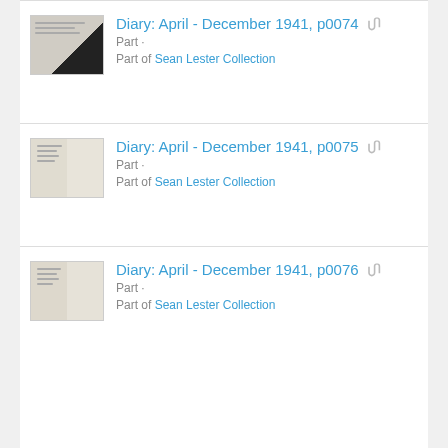Diary: April - December 1941, p0074 | Part | Part of Sean Lester Collection
Diary: April - December 1941, p0075 | Part | Part of Sean Lester Collection
Diary: April - December 1941, p0076 | Part | Part of Sean Lester Collection